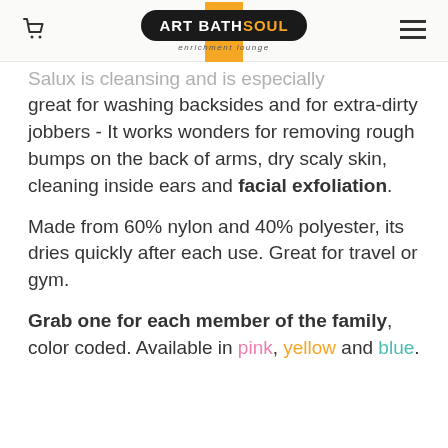ART BATH SOUL enrichment lounge
Salux is cleansing and is especially great for washing backsides and for extra-dirty jobbers - It works wonders for removing rough bumps on the back of arms, dry scaly skin, cleaning inside ears and facial exfoliation.

Made from 60% nylon and 40% polyester, its dries quickly after each use. Great for travel or gym.

Grab one for each member of the family, color coded. Available in pink, yellow and blue.